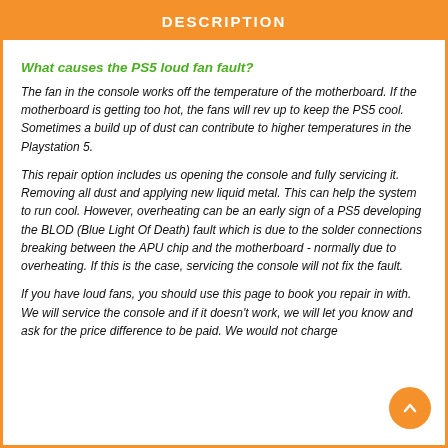DESCRIPTION
What causes the PS5 loud fan fault?
The fan in the console works off the temperature of the motherboard. If the motherboard is getting too hot, the fans will rev up to keep the PS5 cool. Sometimes a build up of dust can contribute to higher temperatures in the Playstation 5.
This repair option includes us opening the console and fully servicing it. Removing all dust and applying new liquid metal. This can help the system to run cool. However, overheating can be an early sign of a PS5 developing the BLOD (Blue Light Of Death) fault which is due to the solder connections breaking between the APU chip and the motherboard - normally due to overheating. If this is the case, servicing the console will not fix the fault.
If you have loud fans, you should use this page to book you repair in with. We will service the console and if it doesn't work, we will let you know and ask for the price difference to be paid. We would not charge